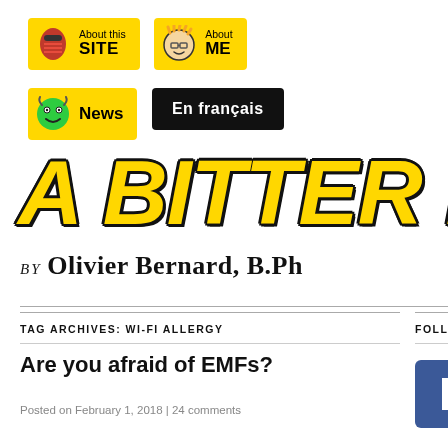[Figure (screenshot): Website navigation header with 'About this SITE', 'About ME', 'News', and 'En français' buttons with icons on yellow/black backgrounds, followed by the site title 'A BITTER PILL' in large yellow italic bold comic-style font, and byline 'BY OLIVIER BERNARD, B.Ph']
TAG ARCHIVES: WI-FI ALLERGY
FOLLOW ME ON...
Are you afraid of EMFs?
Posted on February 1, 2018 | 24 comments
[Figure (logo): Facebook button - blue square with white rectangle icon]